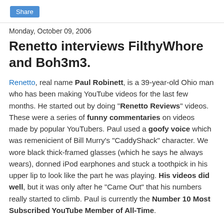Share
Monday, October 09, 2006
Renetto interviews FilthyWhore and Boh3m3.
Renetto, real name Paul Robinett, is a 39-year-old Ohio man who has been making YouTube videos for the last few months. He started out by doing "Renetto Reviews" videos. These were a series of funny commentaries on videos made by popular YouTubers. Paul used a goofy voice which was remenicient of Bill Murry's "CaddyShack" character. We wore black thick-framed glasses (which he says he always wears), donned iPod earphones and stuck a toothpick in his upper lip to look like the part he was playing. His videos did well, but it was only after he "Came Out" that his numbers really started to climb. Paul is currently the Number 10 Most Subscribed YouTube Member of All-Time.
Paul has done quite a lot for the YouTube community,